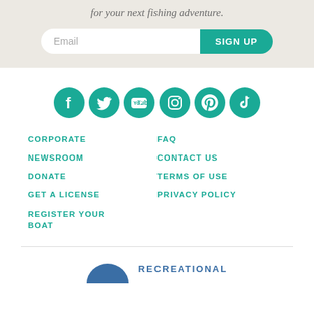for your next fishing adventure.
[Figure (screenshot): Email input field with Sign Up button]
[Figure (infographic): Row of six teal social media icons: Facebook, Twitter, YouTube, Instagram, Pinterest, TikTok]
CORPORATE
NEWSROOM
DONATE
GET A LICENSE
REGISTER YOUR BOAT
FAQ
CONTACT US
TERMS OF USE
PRIVACY POLICY
[Figure (logo): Blue dome/arc logo with RECREATIONAL text]